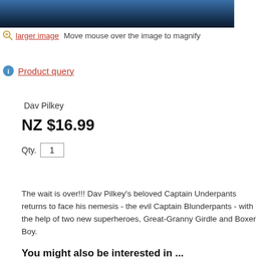[Figure (photo): Top portion of a product image showing a dark blue gradient background, partially cropped]
larger image  Move mouse over the image to magnify
Product query
Dav Pilkey
NZ $16.99
Qty. 1
The wait is over!!! Dav Pilkey's beloved Captain Underpants returns to face his nemesis - the evil Captain Blunderpants - with the help of two new superheroes, Great-Granny Girdle and Boxer Boy.
You might also be interested in ...